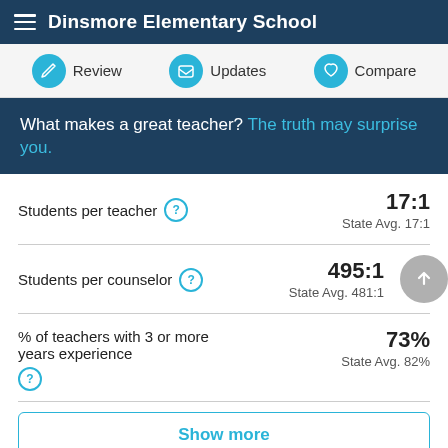Dinsmore Elementary School
Review | Updates | Compare
What makes a great teacher? The truth may surprise you.
Students per teacher ? 17:1 State Avg. 17:1
Students per counselor ? 495:1 State Avg. 481:1
% of teachers with 3 or more years experience ? 73% State Avg. 82%
Show more